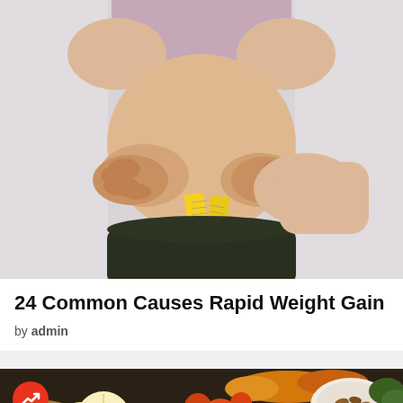[Figure (photo): Woman in a mauve/pink sports bra and dark leggings pinching belly fat with a yellow measuring tape, against a light grey background]
24 Common Causes Rapid Weight Gain
by admin
[Figure (photo): Overhead view of various healthy foods including citrus slices, tomatoes, nuts, spices, and vegetables on a dark background; red circular badge with trending arrow icon in lower left; scroll-up button in lower right]